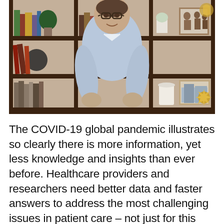[Figure (photo): A man wearing glasses and a light blue button-up shirt stands smiling in front of a dark wood bookshelf filled with books, plants, decorative objects, and framed photos.]
The COVID-19 global pandemic illustrates so clearly there is more information, yet less knowledge and insights than ever before. Healthcare providers and researchers need better data and faster answers to address the most challenging issues in patient care – not just for this pandemic, but for all health